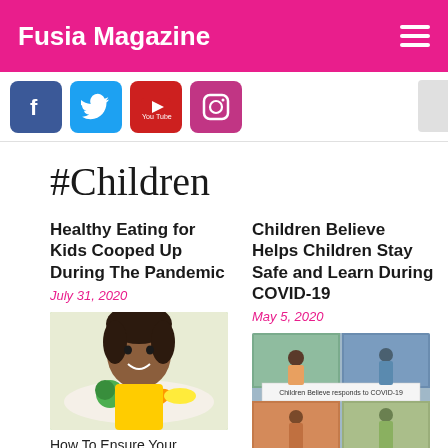Fusia Magazine
[Figure (other): Social media icons row: Facebook, Twitter, YouTube, Instagram]
#Children
Healthy Eating for Kids Cooped Up During The Pandemic
July 31, 2020
Children Believe Helps Children Stay Safe and Learn During COVID-19
May 5, 2020
[Figure (photo): Photo of a young Black girl smiling at a plate of vegetables]
[Figure (photo): Collage of Children Believe organization responding to COVID-19 with caption 'Children Believe responds to COVID-19']
How To Ensure Your
COVID-19 has brought